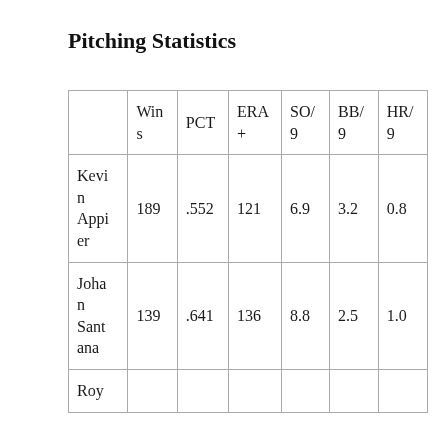Pitching Statistics
|  | Wins | PCT | ERA+ | SO/9 | BB/9 | HR/9 |
| --- | --- | --- | --- | --- | --- | --- |
| Kevin Appier | 189 | .552 | 121 | 6.9 | 3.2 | 0.8 |
| Johan Santana | 139 | .641 | 136 | 8.8 | 2.5 | 1.0 |
| Roy |  |  |  |  |  |  |